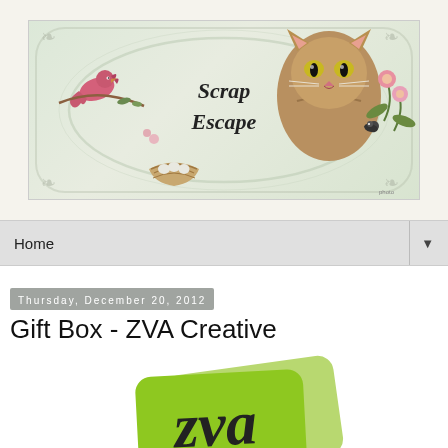[Figure (illustration): Scrap Escape blog banner: vintage decorative oval border on light green background, pink bird on branch left, cat portrait upper right, bird nest with eggs lower left center, pink flowers lower right, italic bold text 'Scrap Escape' in center.]
Home
Thursday, December 20, 2012
Gift Box - ZVA Creative
[Figure (logo): ZVA Creative logo: overlapping green rounded rectangles with stylized script letters 'zva' in black.]